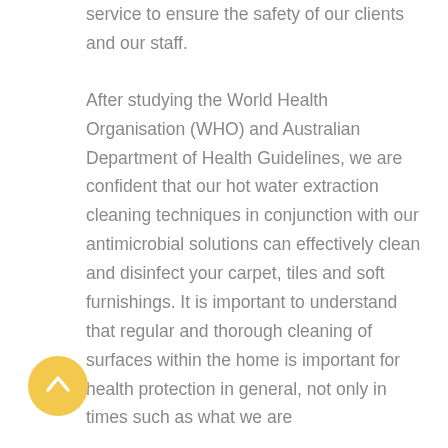service to ensure the safety of our clients and our staff.
After studying the World Health Organisation (WHO) and Australian Department of Health Guidelines, we are confident that our hot water extraction cleaning techniques in conjunction with our antimicrobial solutions can effectively clean and disinfect your carpet, tiles and soft furnishings. It is important to understand that regular and thorough cleaning of surfaces within the home is important for health protection in general, not only in times such as what we are
[Figure (other): Yellow circular scroll-to-top button with a white upward chevron arrow]